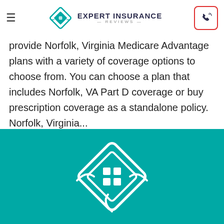Expert Insurance Reviews
provide Norfolk, Virginia Medicare Advantage plans with a variety of coverage options to choose from. You can choose a plan that includes Norfolk, VA Part D coverage or buy prescription coverage as a standalone policy. Norfolk, Virginia...
[Figure (logo): Expert Insurance Reviews logo on teal background with diamond house icon in white]